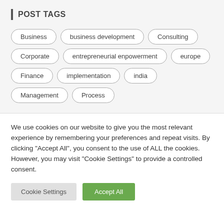POST TAGS
Business
business development
Consulting
Corporate
entrepreneurial enpowerment
europe
Finance
implementation
india
Management
Process
We use cookies on our website to give you the most relevant experience by remembering your preferences and repeat visits. By clicking "Accept All", you consent to the use of ALL the cookies. However, you may visit "Cookie Settings" to provide a controlled consent.
Cookie Settings | Accept All